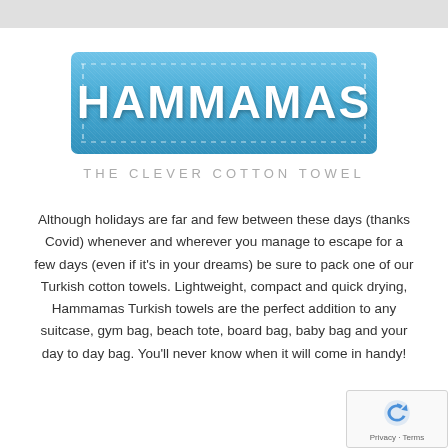[Figure (logo): Hammamas brand label badge — blue denim-textured rectangular badge with stitched border and white bold text reading HAMMAMAS]
THE CLEVER COTTON TOWEL
Although holidays are far and few between these days (thanks Covid) whenever and wherever you manage to escape for a few days (even if it's in your dreams) be sure to pack one of our Turkish cotton towels. Lightweight, compact and quick drying, Hammamas Turkish towels are the perfect addition to any suitcase, gym bag, beach tote, board bag, baby bag and your day to day bag. You'll never know when it will come in handy!